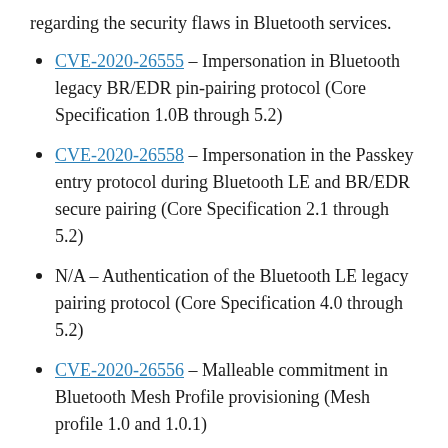regarding the security flaws in Bluetooth services.
CVE-2020-26555 – Impersonation in Bluetooth legacy BR/EDR pin-pairing protocol (Core Specification 1.0B through 5.2)
CVE-2020-26558 – Impersonation in the Passkey entry protocol during Bluetooth LE and BR/EDR secure pairing (Core Specification 2.1 through 5.2)
N/A – Authentication of the Bluetooth LE legacy pairing protocol (Core Specification 4.0 through 5.2)
CVE-2020-26556 – Malleable commitment in Bluetooth Mesh Profile provisioning (Mesh profile 1.0 and 1.0.1)
CVE-2020-26557 – Predictable AuthValue in Bluetooth Mesh Profile provisioning (Mesh profile 1.0 and 1.0.1)
CVE-2020-26559 – Bluetooth Mesh Profile AuthValue leak (Mesh profile 1.0 and 1.0.1)
CVE-2020-26560 – Impersonation attack in Bluetooth Mesh